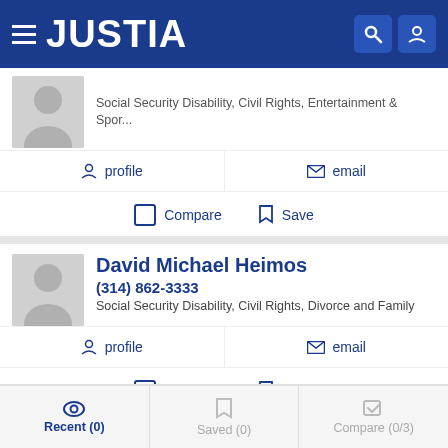JUSTIA
Social Security Disability, Civil Rights, Entertainment & Spor...
profile   email
Compare   Save
David Michael Heimos
(314) 862-3333
Social Security Disability, Civil Rights, Divorce and Family
profile   email
Compare   Save
Recent (0)   Saved (0)   Compare (0/3)